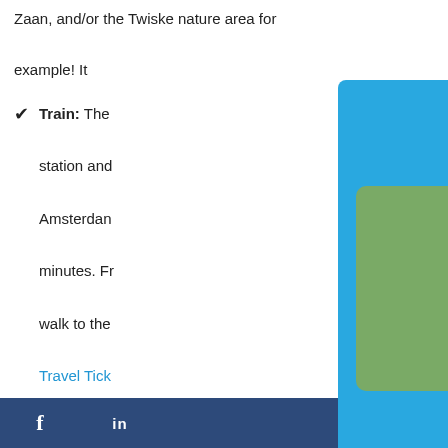Zaan, and/or the Twiske nature area for example! It
Train: The station and Amsterdam minutes. Fr walk to the Travel Tick
Bus: R-net entrance of In summer
[Figure (screenshot): Blue popup overlay with title 'Want to see the REAL Holland?', a photo of a Dutch countryside canal with a farmhouse and windmill, and call-to-action text 'Join us and visit like a local']
f  in